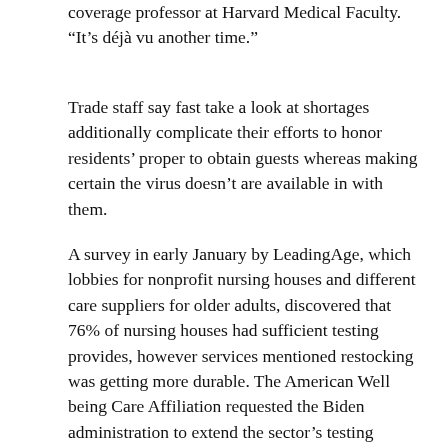coverage professor at Harvard Medical Faculty. “It’s déjà vu another time.”
Trade staff say fast take a look at shortages additionally complicate their efforts to honor residents’ proper to obtain guests whereas making certain the virus doesn’t are available in with them.
A survey in early January by LeadingAge, which lobbies for nonprofit nursing houses and different care suppliers for older adults, discovered that 76% of nursing houses had sufficient testing provides, however services mentioned restocking was getting more durable. The American Well being Care Affiliation requested the Biden administration to extend the sector’s testing provides and associated tools. The group estimates the sector wants 5 million exams per week.